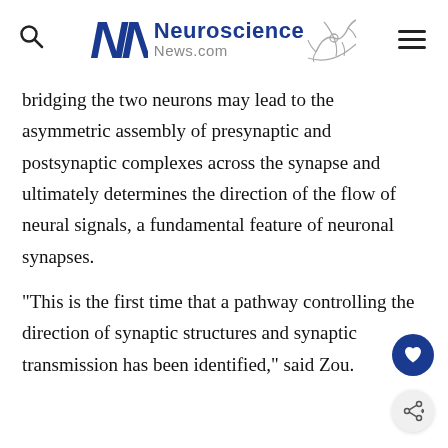Neuroscience News.com
bridging the two neurons may lead to the asymmetric assembly of presynaptic and postsynaptic complexes across the synapse and ultimately determines the direction of the flow of neural signals, a fundamental feature of neuronal synapses.
“This is the first time that a pathway controlling the direction of synaptic structures and synaptic transmission has been identified,” said Zou.